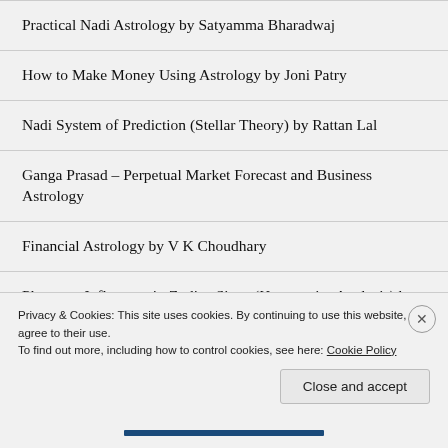Practical Nadi Astrology by Satyamma Bharadwaj
How to Make Money Using Astrology by Joni Patry
Nadi System of Prediction (Stellar Theory) by Rattan Lal
Ganga Prasad – Perpetual Market Forecast and Business Astrology
Financial Astrology by V K Choudhary
Planetary Influences in Zodiac Signs (House-wise Analysis) by V K Choudhary
Privacy & Cookies: This site uses cookies. By continuing to use this website, you agree to their use.
To find out more, including how to control cookies, see here: Cookie Policy
Close and accept